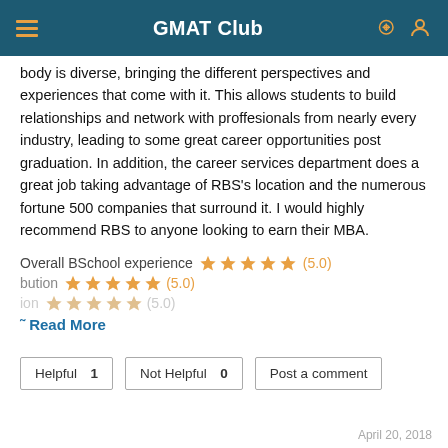GMAT Club
body is diverse, bringing the different perspectives and experiences that come with it. This allows students to build relationships and network with proffesionals from nearly every industry, leading to some great career opportunities post graduation. In addition, the career services department does a great job taking advantage of RBS's location and the numerous fortune 500 companies that surround it. I would highly recommend RBS to anyone looking to earn their MBA.
Overall BSchool experience ★★★★★ (5.0)
bution ★★★★★ (5.0)
Read More
Helpful 1  Not Helpful 0  Post a comment
April 20, 2018